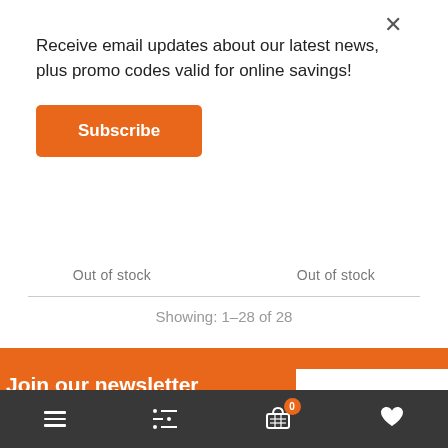Receive email updates about our latest news, plus promo codes valid for online savings!
Subscribe
Out of stock
Out of stock
Showing: 1–28 of 28
Join our newsletter
Get updates on promotions and coupons
E-mail address
Bottom navigation bar with menu, filter, cart (0), and wishlist icons